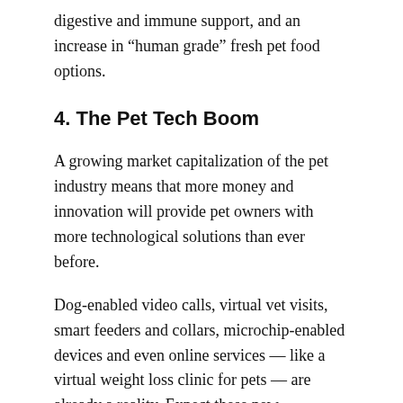digestive and immune support, and an increase in “human grade” fresh pet food options.
4. The Pet Tech Boom
A growing market capitalization of the pet industry means that more money and innovation will provide pet owners with more technological solutions than ever before.
Dog-enabled video calls, virtual vet visits, smart feeders and collars, microchip-enabled devices and even online services — like a virtual weight loss clinic for pets — are already a reality. Expect these new technologies to double as pet owners search for technologies that provide convenience, safety, and health monitoring solutions in the years to come.
5. The humanization of pets continues